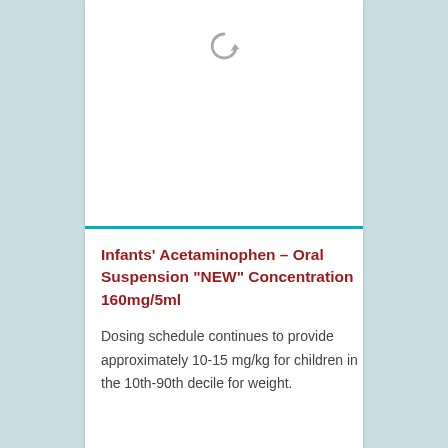[Figure (other): Gray circular rotate/refresh icon centered near top of white card]
Infants' Acetaminophen – Oral Suspension "NEW" Concentration 160mg/5ml
Dosing schedule continues to provide approximately 10-15 mg/kg for children in the 10th-90th decile for weight.